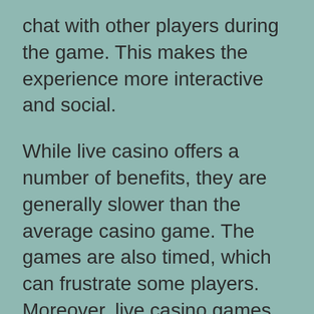chat with other players during the game. This makes the experience more interactive and social.
While live casino offers a number of benefits, they are generally slower than the average casino game. The games are also timed, which can frustrate some players. Moreover, live casino games can occasionally experience technical problems. Since they are streamed from a studio, the connection can be choppy at times. However, the overall experience is much more rewarding than playing online casino games. However, it is important to be aware of